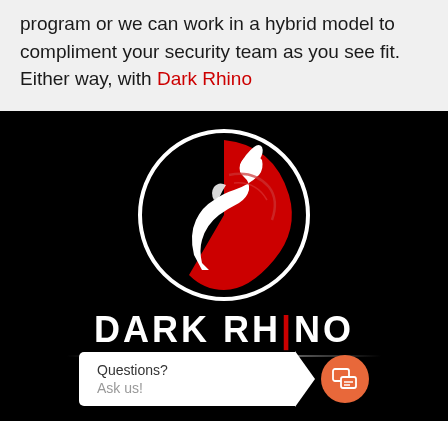program or we can work in a hybrid model to compliment your security team as you see fit. Either way, with Dark Rhino
[Figure (logo): Dark Rhino logo on black background: circular emblem with a stylized white rhino and red swirl design, with 'DARK RHINO' text below in bold white letters with a red vertical bar between 'RH' and 'NO'. A chat widget at the bottom reads 'Questions? Ask us!']